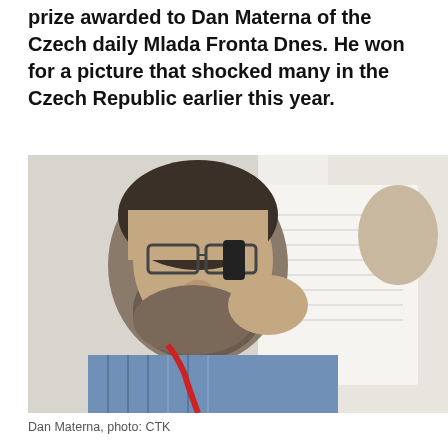prize awarded to Dan Materna of the Czech daily Mlada Fronta Dnes. He won for a picture that shocked many in the Czech Republic earlier this year.
[Figure (photo): A man with glasses and a beard holding papers close to his face, wearing a blue striped shirt and a red lanyard badge. Black and white/muted color photo. Credited as Dan Materna, photo: CTK.]
Dan Materna, photo: CTK